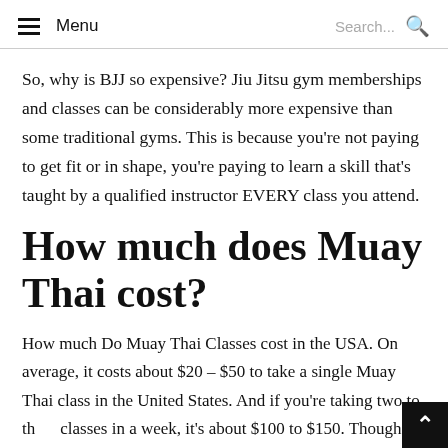Menu   Search...
So, why is BJJ so expensive? Jiu Jitsu gym memberships and classes can be considerably more expensive than some traditional gyms. This is because you're not paying to get fit or in shape, you're paying to learn a skill that's taught by a qualified instructor EVERY class you attend.
How much does Muay Thai cost?
How much Do Muay Thai Classes cost in the USA. On average, it costs about $20 – $50 to take a single Muay Thai class in the United States. And if you're taking two to three classes in a week, it's about $100 to $150. Though, it all